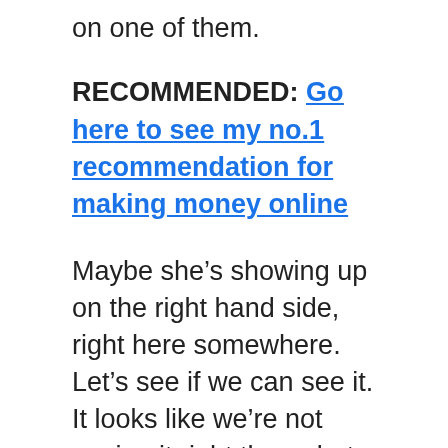on one of them.
RECOMMENDED: Go here to see my no.1 recommendation for making money online
Maybe she’s showing up on the right hand side, right here somewhere. Let’s see if we can see it. It looks like we’re not seeing it right there, but you can see there’s loads and loads of videos about reprogramming and about the subconscious mind. It could be so many different videos that she could be showing up on the side in the suggested video section. This really just gives you guys an idea of how you can reverse engineer